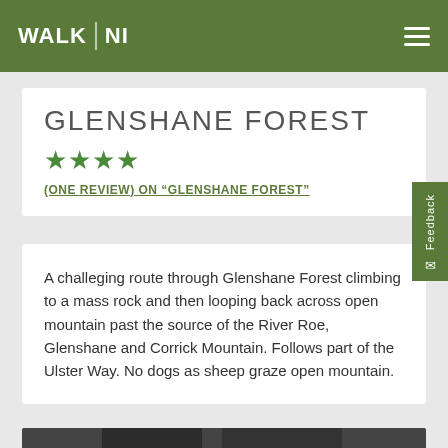WALK NI
GLENSHANE FOREST
★★★★
(ONE REVIEW) ON "GLENSHANE FOREST"
A challeging route through Glenshane Forest climbing to a mass rock and then looping back across open mountain past the source of the River Roe, Glenshane and Corrick Mountain. Follows part of the Ulster Way. No dogs as sheep graze open mountain.
[Figure (photo): Close-up photo of hiking boots with a teal/turquoise strap, worn by a hiker on a walk]